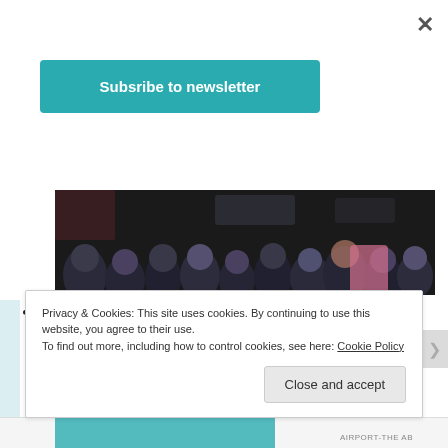×
Subsribe to newsletter
[Figure (photo): A crowd of people in what appears to be an indoor venue or store, photographed from slightly above, showing many heads and faces in low lighting.]
Visit Ground Zero – Albeit very emotional, it was also a very powerful experience. We tried to go to the Museum/Memorial, but the lines were SO long and it was freezing, so we decided next time we are in NYC we will book in advance.
Privacy & Cookies: This site uses cookies. By continuing to use this website, you agree to their use. To find out more, including how to control cookies, see here: Cookie Policy
Close and accept